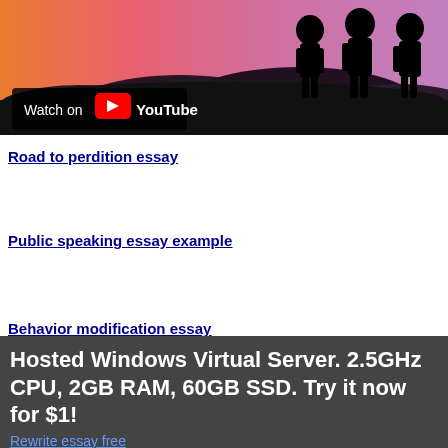[Figure (screenshot): YouTube video thumbnail showing silhouettes of astronauts against a pink/orange gradient sky background, with a 'Watch on YouTube' button overlay in the lower left corner.]
Road to perdition essay
Public speaking essay example
Behavior modification essay
Hosted Windows Virtual Server. 2.5GHz CPU, 2GB RAM, 60GB SSD. Try it now for $1!
Rewrite essay free